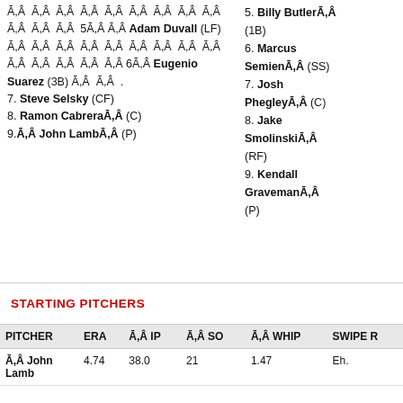Ā,Â Ā,Â Ā,Â Ā,Â Ā,Â Ā,Â Ā,Â Ā,Â Ā,Â Ā,Â Ā,Â Ā,Â Ā,Â 5Ā,Â Ā,Â Adam Duvall (LF) Ā,Â Ā,Â Ā,Â Ā,Â Ā,Â Ā,Â Ā,Â Ā,Â Ā,Â Ā,Â Ā,Â Ā,Â Ā,Â 6Ā,Â Eugenio Suarez (3B) Ā,Â Ā,Â . 7. Steve Selsky (CF) 8. Ramon CabreraĀ,Â (C) 9.Ā,Â John LambĀ,Â (P)
5. Billy ButlerĀ,Â (1B) 6. Marcus SemienĀ,Â (SS) 7. Josh PhegleyĀ,Â (C) 8. Jake SmolinskiĀ,Â (RF) 9. Kendall GravemanĀ,Â (P)
STARTING PITCHERS
| PITCHER | ERA | Ā,Â IP | Ā,Â SO | Ā,Â WHIP | SWIPE R |
| --- | --- | --- | --- | --- | --- |
| Ā,Â John Lamb | 4.74 | 38.0 | 21 | 1.47 | Eh. |